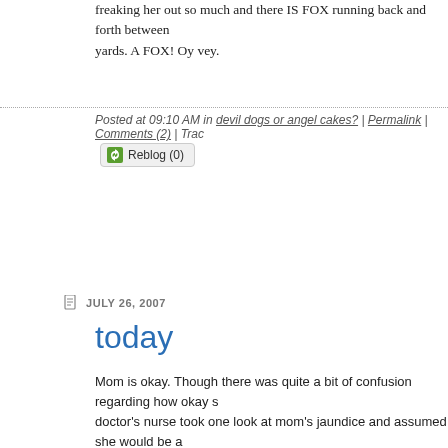freaking her out so much and there IS FOX running back and forth between yards. A FOX! Oy vey.
Posted at 09:10 AM in devil dogs or angel cakes? | Permalink | Comments (2) | Trac
Reblog (0)
JULY 26, 2007
today
Mom is okay. Though there was quite a bit of confusion regarding how okay s doctor's nurse took one look at mom's jaundice and assumed she would be a sorts of calls to mom from the hospital telling her her room was ready, and fro to find out what room she was in. But, in the end the doctor sent mom home house) with instructions to eat more and sleep all she wanted. Sounds nice ri for a medical professional to look me right in the eye and tell me what I need sleep the day away!
I did bring Matt to the podiatrist who thankfully only clipped the triangular cor and not half the nail as I had feared cause that is what they did to the husban when we were young. Matt's big toe resembles a toe once again and not the around there for a couple of weeks.
I realize what shitty dog owners we are and have devil dog on suicide alert, s she gets to follow us around all day and is a joy to be with and here we pretty